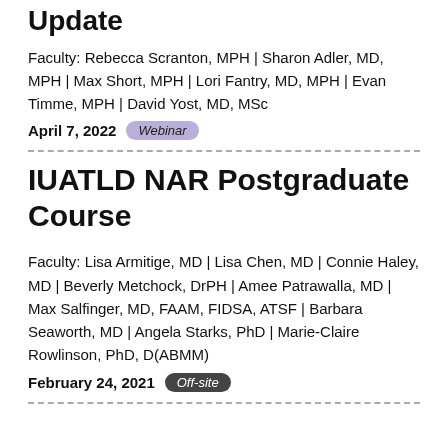Update
Faculty: Rebecca Scranton, MPH | Sharon Adler, MD, MPH | Max Short, MPH | Lori Fantry, MD, MPH | Evan Timme, MPH | David Yost, MD, MSc
April 7, 2022  Webinar
IUATLD NAR Postgraduate Course
Faculty: Lisa Armitige, MD | Lisa Chen, MD | Connie Haley, MD | Beverly Metchock, DrPH | Amee Patrawalla, MD | Max Salfinger, MD, FAAM, FIDSA, ATSF | Barbara Seaworth, MD | Angela Starks, PhD | Marie-Claire Rowlinson, PhD, D(ABMM)
February 24, 2021  Off-site